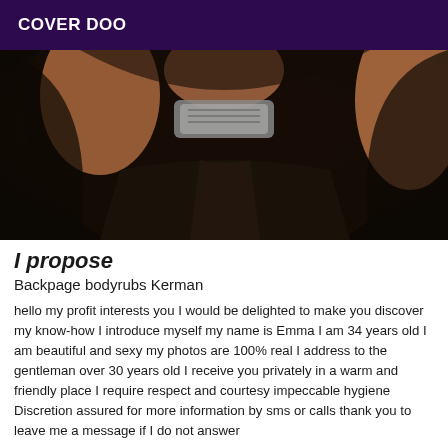COVER DOO
[Figure (photo): Close-up photo of a woman wearing a black outfit and silver necklace/choker, with long dark hair]
I propose
Backpage bodyrubs Kerman
hello my profit interests you I would be delighted to make you discover my know-how I introduce myself my name is Emma I am 34 years old I am beautiful and sexy my photos are 100% real I address to the gentleman over 30 years old I receive you privately in a warm and friendly place I require respect and courtesy impeccable hygiene Discretion assured for more information by sms or calls thank you to leave me a message if I do not answer